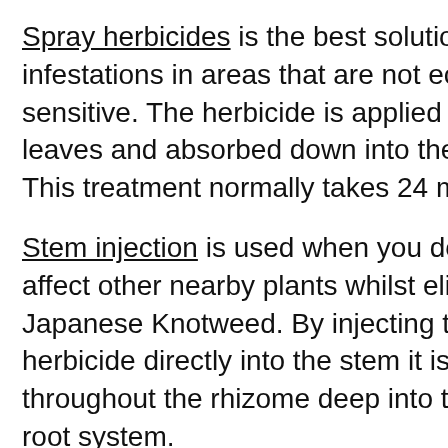Spray herbicides is the best solution for large infestations in areas that are not ecologically sensitive. The herbicide is applied to the leaves and absorbed down into the rhizome. This treatment normally takes 24 months.
Stem injection is used when you don't want to affect other nearby plants whilst eliminating Japanese Knotweed. By injecting the herbicide directly into the stem it is absorbed throughout the rhizome deep into the plant's root system.
How does Japanese Knotweed spread?